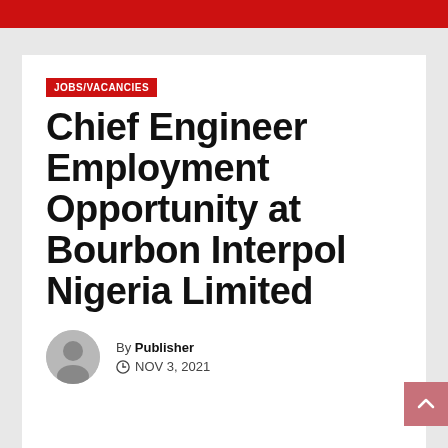JOBS/VACANCIES
Chief Engineer Employment Opportunity at Bourbon Interpol Nigeria Limited
By Publisher
NOV 3, 2021